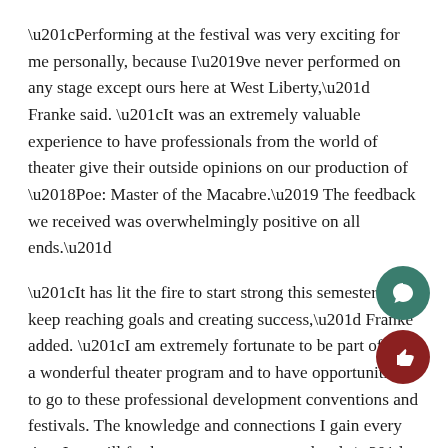“Performing at the festival was very exciting for me personally, because I’ve never performed on any stage except ours here at West Liberty,” Franke said. “It was an extremely valuable experience to have professionals from the world of theater give their outside opinions on our production of ‘Poe: Master of the Macabre.’ The feedback we received was overwhelmingly positive on all ends.”
“It has lit the fire to start strong this semester and keep reaching goals and creating success,” Franke added. “I am extremely fortunate to be part of such a wonderful theater program and to have opportunities to go to these professional development conventions and festivals. The knowledge and connections I gain every time I go will further my success tremendously.”
Fellow performer Alex Burdick also said, “Performing festival was absolutely life-changing. Many of us have